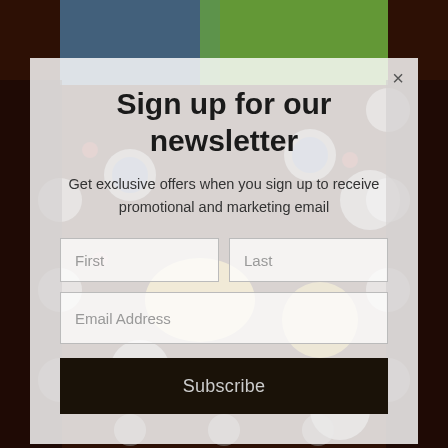[Figure (illustration): Colorful African-inspired folk art painting visible behind a newsletter signup modal overlay. The artwork features figures, patterns, moons, and decorative circles in rich colors including yellow, blue, green, brown and red.]
Sign up for our newsletter
Get exclusive offers when you sign up to receive promotional and marketing email
First
Last
Email Address
Subscribe